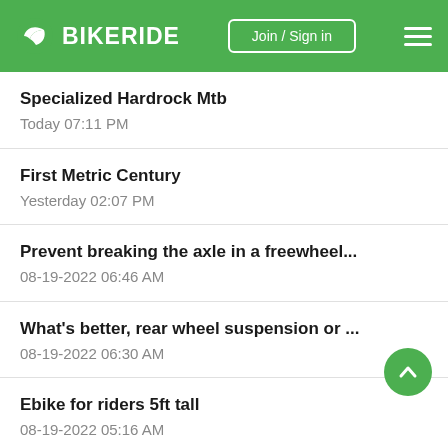BIKERIDE — Join / Sign in
Specialized Hardrock Mtb
Today 07:11 PM
First Metric Century
Yesterday 02:07 PM
Prevent breaking the axle in a freewheel...
08-19-2022 06:46 AM
What's better, rear wheel suspension or ...
08-19-2022 06:30 AM
Ebike for riders 5ft tall
08-19-2022 05:16 AM
1974 Raleigh Sports 3 Restoration Tips ...